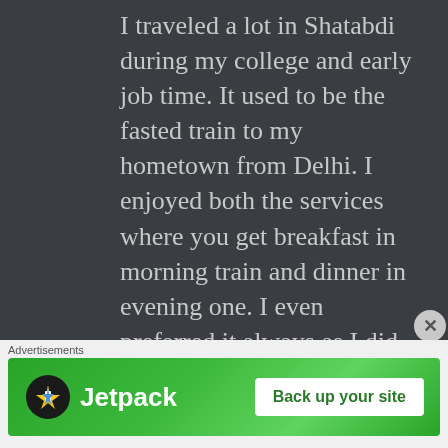I traveled a lot in Shatabdi during my college and early job time. It used to be the fasted train to my hometown from Delhi. I enjoyed both the services where you get breakfast in morning train and dinner in evening one. I even preferred it always as I did not need to carry my own food then. When you are a frequent Shatabdi traveler, you more than enjoying the journey wait for food to arrive. You keep on guessing the time of its arrival. And you feel confident about
[Figure (other): Jetpack advertisement banner with green background, Jetpack logo on left and 'Back up your site' white button on right]